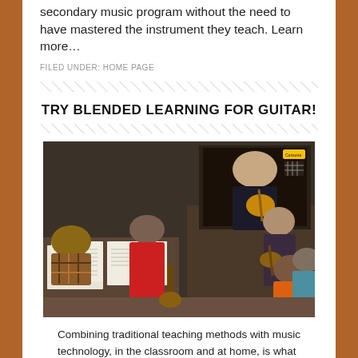secondary music program without the need to have mastered the instrument they teach. Learn more…
FILED UNDER: HOME PAGE
TRY BLENDED LEARNING FOR GUITAR!
[Figure (photo): A classroom scene showing students with sheet music watching a video screen displaying an instructor playing guitar, while another instructor plays guitar in person at the front of the room.]
Combining traditional teaching methods with music technology, in the classroom and at home, is what blended learning is all about. Register for your own 60 day free trial. See course…